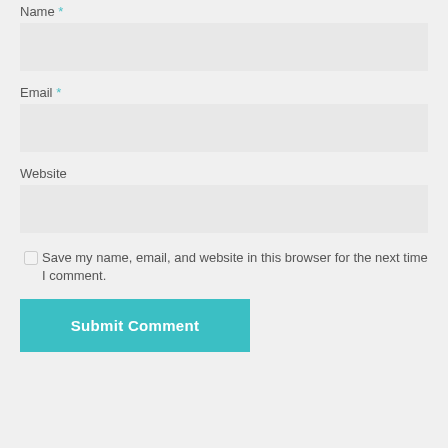Name *
[Figure (screenshot): Name input field (empty, light gray background)]
Email *
[Figure (screenshot): Email input field (empty, light gray background)]
Website
[Figure (screenshot): Website input field (empty, light gray background)]
Save my name, email, and website in this browser for the next time I comment.
Submit Comment